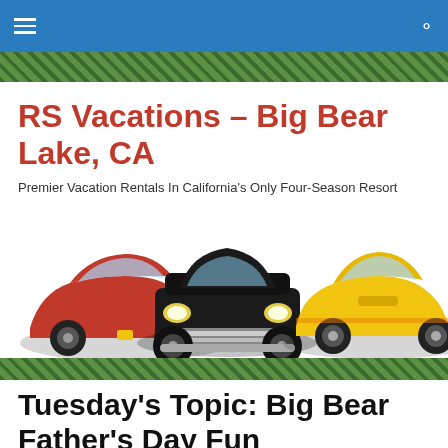Navigation bar with menu and search icons
[Figure (photo): Green foliage/forest band at top of page]
RS Vacations – Big Bear Lake, CA
Premier Vacation Rentals In California's Only Four-Season Resort
[Figure (photo): Three classic and sports cars: red Ferrari on left, black vintage Chevrolet in center, yellow muscle car (Mustang) on right]
[Figure (photo): Green foliage/forest band at bottom dividing site header from article]
Tuesday's Topic: Big Bear Father's Day Fun
Father's Day is just around the corner and let it b...